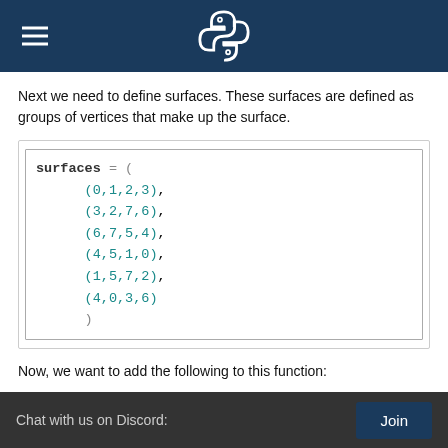Python logo header with hamburger menu
Next we need to define surfaces. These surfaces are defined as groups of vertices that make up the surface.
[Figure (screenshot): Code block showing: surfaces = (
    (0,1,2,3),
    (3,2,7,6),
    (6,7,5,4),
    (4,5,1,0),
    (1,5,7,2),
    (4,0,3,6)
    )]
Now, we want to add the following to this function:
Chat with us on Discord:   Join